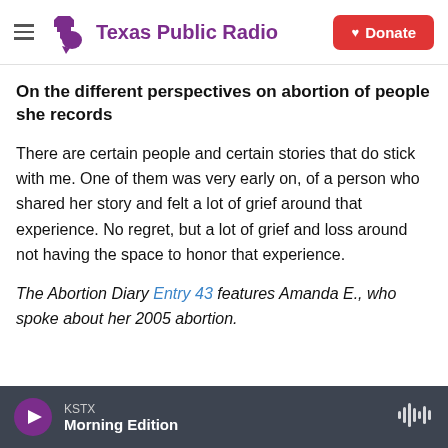Texas Public Radio — Donate
On the different perspectives on abortion of people she records
There are certain people and certain stories that do stick with me. One of them was very early on, of a person who shared her story and felt a lot of grief around that experience. No regret, but a lot of grief and loss around not having the space to honor that experience.
The Abortion Diary Entry 43 features Amanda E., who spoke about her 2005 abortion.
KSTX Morning Edition